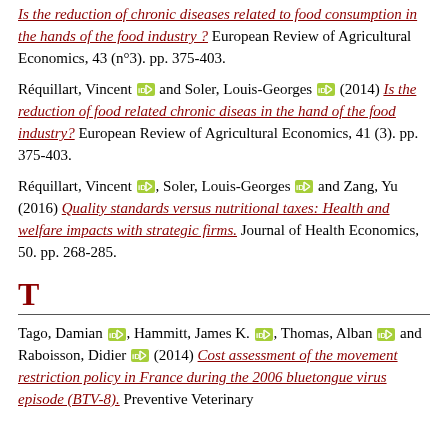Réquillart, Vincent and Soler, Louis-Georges (2016) Is the reduction of chronic diseases related to food consumption in the hands of the food industry? European Review of Agricultural Economics, 43 (n°3). pp. 375-403.
Réquillart, Vincent and Soler, Louis-Georges (2014) Is the reduction of food related chronic diseas in the hand of the food industry? European Review of Agricultural Economics, 41 (3). pp. 375-403.
Réquillart, Vincent, Soler, Louis-Georges and Zang, Yu (2016) Quality standards versus nutritional taxes: Health and welfare impacts with strategic firms. Journal of Health Economics, 50. pp. 268-285.
T
Tago, Damian, Hammitt, James K., Thomas, Alban and Raboisson, Didier (2014) Cost assessment of the movement restriction policy in France during the 2006 bluetongue virus episode (BTV-8). Preventive Veterinary